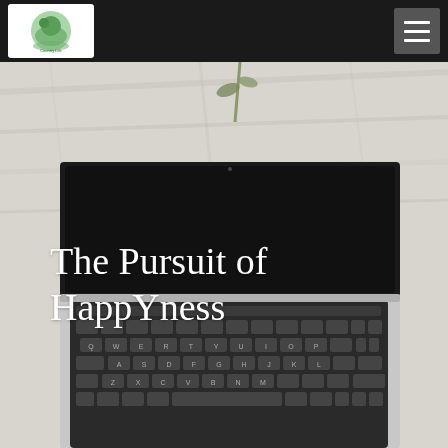Navigation bar with logo and hamburger menu
[Figure (photo): Overhead view of an open MacBook laptop on a light wood desk surface, with a small plant visible at the top. The laptop screen is dark/black showing the blog title text overlaid. The keyboard is visible in silver and black.]
The Pursuit of HappYness